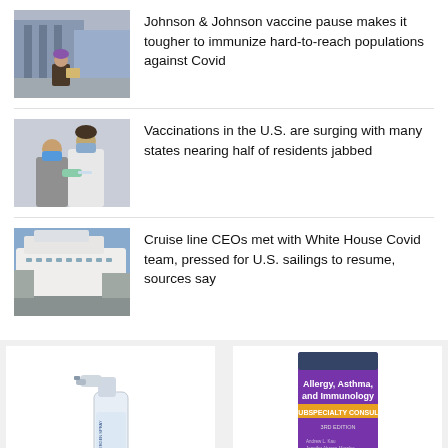[Figure (photo): Person crouching on street holding a cardboard sign]
Johnson & Johnson vaccine pause makes it tougher to immunize hard-to-reach populations against Covid
[Figure (photo): Healthcare worker administering vaccine injection to a patient, both wearing masks]
Vaccinations in the U.S. are surging with many states nearing half of residents jabbed
[Figure (photo): Large cruise ship docked at port]
Cruise line CEOs met with White House Covid team, pressed for U.S. sailings to resume, sources say
[Figure (photo): Allergen spray bottle product advertisement]
[Figure (photo): Book cover: Allergy, Asthma, and Immunology Subspecialty Consult]